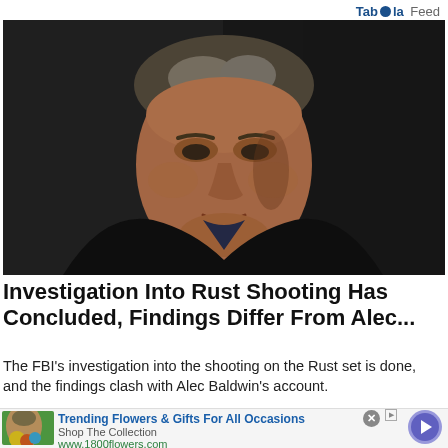Taboola Feed
[Figure (photo): Close-up photo of a middle-aged man with grey-brown hair wearing a dark jacket, photographed in a dark studio setting]
Investigation Into Rust Shooting Has Concluded, Findings Differ From Alec...
The FBI's investigation into the shooting on the Rust set is done, and the findings clash with Alec Baldwin's account.
[Figure (photo): Advertisement: Woman with flowers - Trending Flowers & Gifts For All Occasions, Shop The Collection, www.1800flowers.com]